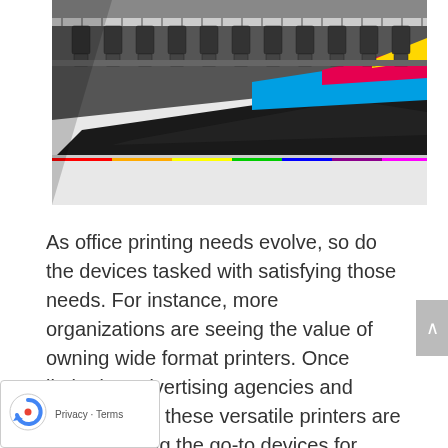[Figure (photo): Close-up of a large-format printer with print heads visible at top and wide color bands (black, blue/cyan, magenta/red, yellow) being printed on white media.]
As office printing needs evolve, so do the devices tasked with satisfying those needs. For instance, more organizations are seeing the value of owning wide format printers. Once limited to advertising agencies and design firms, these versatile printers are fast becoming the go-to devices for print jobs where size matters. Discover for yourself how